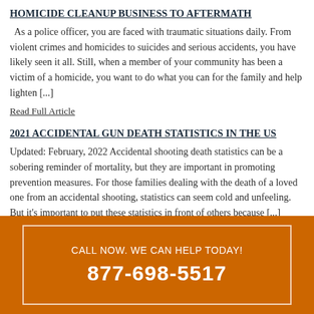HOMICIDE CLEANUP BUSINESS TO AFTERMATH
As a police officer, you are faced with traumatic situations daily. From violent crimes and homicides to suicides and serious accidents, you have likely seen it all. Still, when a member of your community has been a victim of a homicide, you want to do what you can for the family and help lighten [...]
Read Full Article
2021 ACCIDENTAL GUN DEATH STATISTICS IN THE US
Updated: February, 2022 Accidental shooting death statistics can be a sobering reminder of mortality, but they are important in promoting prevention measures. For those families dealing with the death of a loved one from an accidental shooting, statistics can seem cold and unfeeling. But it's important to put these statistics in front of others because [...]
CALL NOW. WE CAN HELP TODAY!
877-698-5517